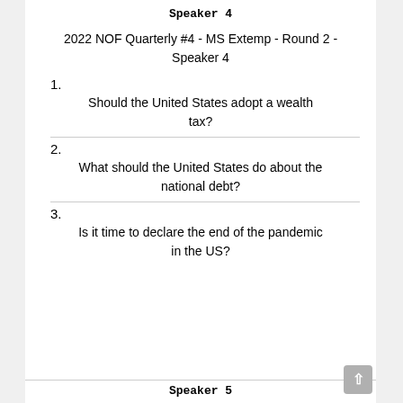Speaker 4
2022 NOF Quarterly #4 - MS Extemp - Round 2 - Speaker 4
1.
Should the United States adopt a wealth tax?
2.
What should the United States do about the national debt?
3.
Is it time to declare the end of the pandemic in the US?
Speaker 5